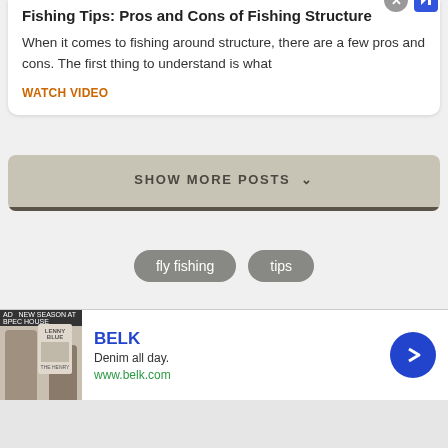Fishing Tips: Pros and Cons of Fishing Structure
When it comes to fishing around structure, there are a few pros and cons. The first thing to understand is what
WATCH VIDEO
SHOW MORE POSTS
fly fishing
tips
[Figure (screenshot): Advertisement for BELK showing denim clothing. Text: BELK, Denim all day., www.belk.com]